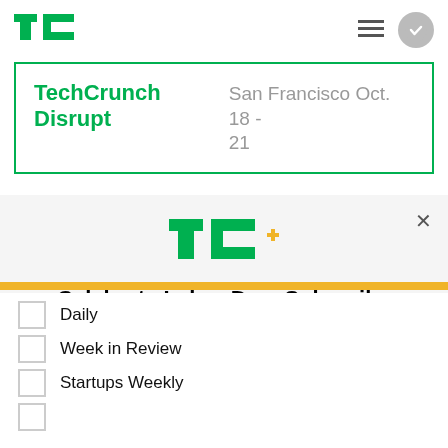[Figure (logo): TechCrunch TC green logo in top nav bar]
TechCrunch Disrupt
San Francisco Oct. 18 - 21
[Figure (logo): TC+ logo in green with gold plus sign]
Celebrate Labor Day: Subscribe TechCrunch+ Today Only for $90/Year.
GET OFFER NOW
Daily
Week in Review
Startups Weekly